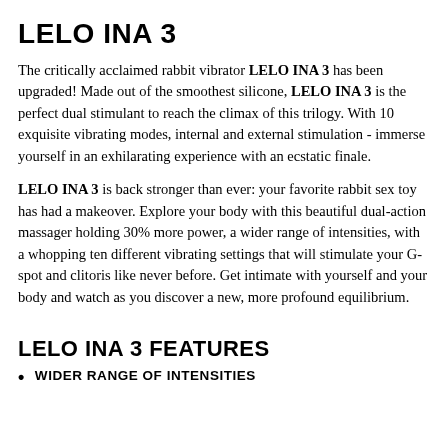LELO INA 3
The critically acclaimed rabbit vibrator LELO INA 3 has been upgraded! Made out of the smoothest silicone, LELO INA 3 is the perfect dual stimulant to reach the climax of this trilogy. With 10 exquisite vibrating modes, internal and external stimulation - immerse yourself in an exhilarating experience with an ecstatic finale.
LELO INA 3 is back stronger than ever: your favorite rabbit sex toy has had a makeover. Explore your body with this beautiful dual-action massager holding 30% more power, a wider range of intensities, with a whopping ten different vibrating settings that will stimulate your G-spot and clitoris like never before. Get intimate with yourself and your body and watch as you discover a new, more profound equilibrium.
LELO INA 3 FEATURES
WIDER RANGE OF INTENSITIES